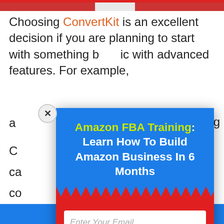[Figure (screenshot): Top image strip showing partial banner/photo strip at top of page]
Choosing ConvertKit is an excellent decision if you are planning to start with something basic with advanced features. For example, a... g C... ca... co...
[Figure (infographic): Popup modal overlay with blue top section containing title 'Amazon FBA Training: Learn How To Build Amazon Business In 6 Months', zigzag border, red bottom section with email input field and Get Access button. Close button (x) in top-left corner of modal.]
Co... m... sp... d pl... 0 su... su... r
[Figure (screenshot): Blue footer bar at bottom of page]